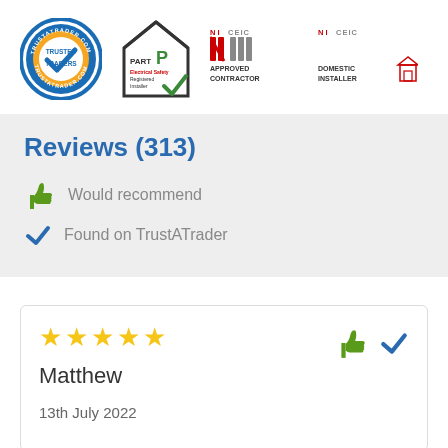[Figure (logo): TrustATrader.com Trusted Traders circular badge logo with blue and orange checkmark]
[Figure (logo): Part P Electrical Safety Registered Installer logo with house icon and green checkmark]
[Figure (logo): NICEIC Approved Contractor logo in red and grey]
[Figure (logo): NICEIC Domestic Installer logo in red and grey]
Reviews (313)
Would recommend
Found on TrustATrader
★★★★★
Matthew
13th July 2022